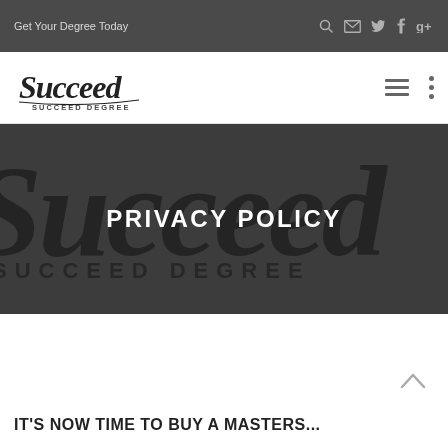Get Your Degree Today
[Figure (logo): Succeed Degree script logo in black on white background]
PRIVACY POLICY
[Figure (illustration): Succeed / SUCCEED DEGREE watermark text on dark gray background]
IT'S NOW TIME TO BUY A MASTERS...